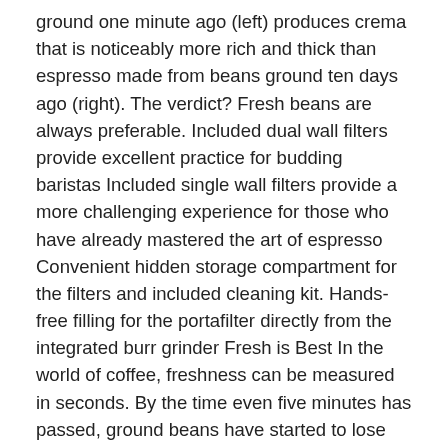ground one minute ago (left) produces crema that is noticeably more rich and thick than espresso made from beans ground ten days ago (right). The verdict? Fresh beans are always preferable. Included dual wall filters provide excellent practice for budding baristas Included single wall filters provide a more challenging experience for those who have already mastered the art of espresso Convenient hidden storage compartment for the filters and included cleaning kit. Hands-free filling for the portafilter directly from the integrated burr grinder Fresh is Best In the world of coffee, freshness can be measured in seconds. By the time even five minutes has passed, ground beans have started to lose their flavor. Grinding beans every time you want fresh espresso takes time, though, and oftentimes it becomes a tradeoff between taste and convenience. The Breville Barista Express solves this problem, delivering fresh, quality espresso at remarkable Speed, thanks to its integrated burr grinder. Go from beans to espresso in under a minute—all in the comfort of your own Home. Café quality espresso in your Home Espresso making is notorious for being both an art and a science, requiring you to carefully adjust each of the inputs (grind size, grind amount, etc.). But even Complete beginners and aspiring